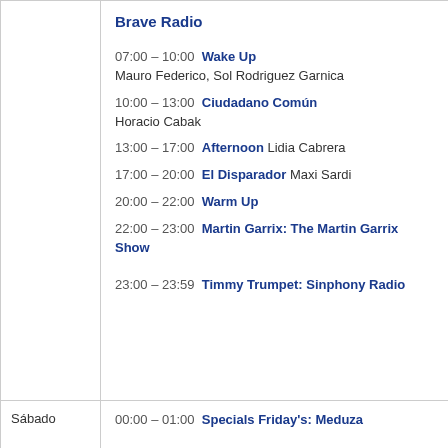Brave Radio
07:00 - 10:00  Wake Up
Mauro Federico, Sol Rodriguez Garnica
10:00 - 13:00  Ciudadano Común
Horacio Cabak
13:00 - 17:00  Afternoon  Lidia Cabrera
17:00 - 20:00  El Disparador  Maxi Sardi
20:00 - 22:00  Warm Up
22:00 - 23:00  Martin Garrix: The Martin Garrix Show
23:00 - 23:59  Timmy Trumpet: Sinphony Radio
Sábado
00:00 - 01:00  Specials Friday's: Meduza